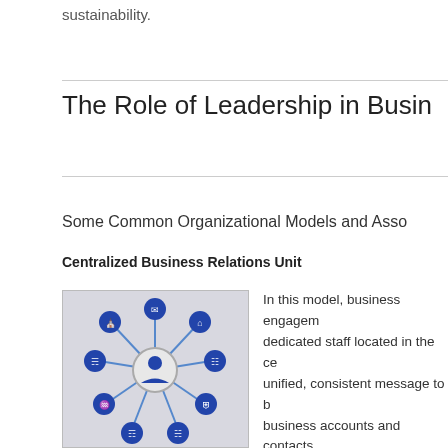sustainability.
The Role of Leadership in Business...
Some Common Organizational Models and Asso...
Centralized Business Relations Unit
[Figure (illustration): Hub-and-spoke organizational diagram with a central person icon connected to 8 surrounding blue circular icons representing different functional areas.]
In this model, business engagem... dedicated staff located in the ce... unified, consistent message to b... business accounts and contacts... easily accessible information ab... offer a single point of contact fo...